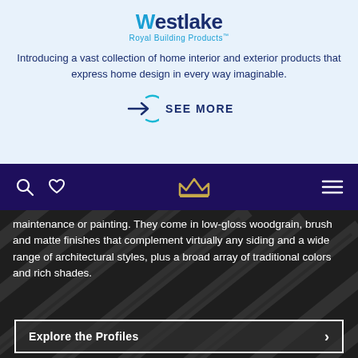[Figure (logo): Westlake Royal Building Products logo with blue W mark and blue text]
Introducing a vast collection of home interior and exterior products that express home design in every way imaginable.
[Figure (infographic): Arrow inside a circle with SEE MORE text]
[Figure (screenshot): Dark purple navigation bar with search icon, heart icon, crown logo, and hamburger menu]
maintenance or painting. They come in low-gloss woodgrain, brush and matte finishes that complement virtually any siding and a wide range of architectural styles, plus a broad array of traditional colors and rich shades.
[Figure (photo): Dark angled siding panels background image]
Explore the Profiles